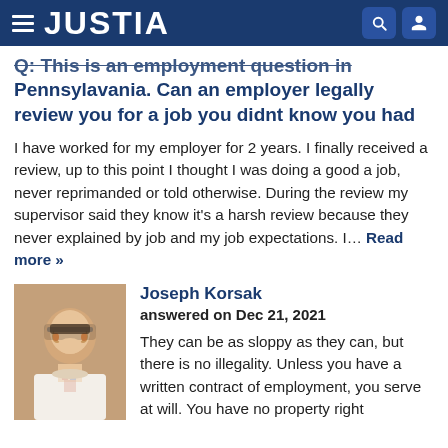JUSTIA
Q: This is an employment question in Pennsylavania. Can an employer legally review you for a job you didnt know you had
I have worked for my employer for 2 years. I finally received a review, up to this point I thought I was doing a good a job, never reprimanded or told otherwise. During the review my supervisor said they know it's a harsh review because they never explained by job and my job expectations. I… Read more »
Joseph Korsak
answered on Dec 21, 2021
[Figure (photo): Headshot of attorney Joseph Korsak, a middle-aged man wearing glasses and a striped tie]
They can be as sloppy as they can, but there is no illegality. Unless you have a written contract of employment, you serve at will. You have no property right